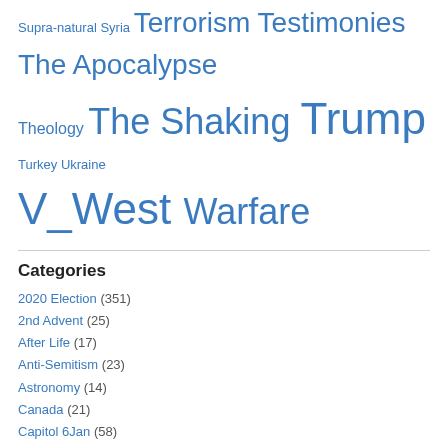Supra-natural Syria Terrorism Testimonies The Apocalypse Theology The Shaking Trump Turkey Ukraine V_West Warfare
Categories
2020 Election (351)
2nd Advent (25)
After Life (17)
Anti-Semitism (23)
Astronomy (14)
Canada (21)
Capitol 6Jan (58)
China (108)
Christianity (242)
Destiny (178)